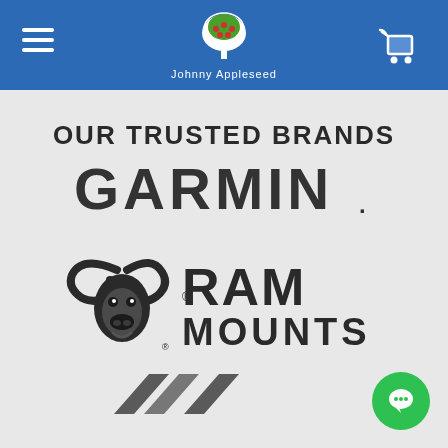Johnny Appleseed — navigation header with hamburger menu and shopping cart
OUR TRUSTED BRANDS
[Figure (logo): GARMIN. logo in dark gray bold capital letters with registered trademark dot]
[Figure (logo): RAM MOUNTS logo with ram head illustration and bold dark capital letters with registered trademark]
[Figure (logo): Partial logo visible at bottom of page, dark chevron/arrow shapes in gray]